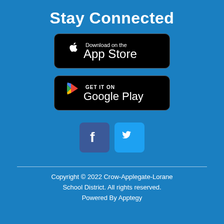Stay Connected
[Figure (logo): App Store download badge (black rounded rectangle with Apple logo and 'Download on the App Store' text)]
[Figure (logo): Google Play download badge (black rounded rectangle with Play Store triangle logo and 'GET IT ON Google Play' text)]
[Figure (logo): Facebook icon (blue square with white 'f') and Twitter icon (light blue square with white bird)]
Copyright © 2022 Crow-Applegate-Lorane School District. All rights reserved. Powered By Apptegy